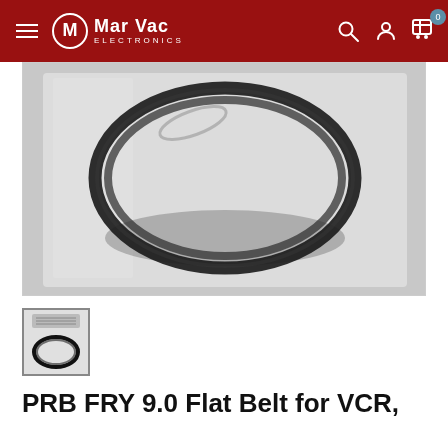Mar Vac Electronics
[Figure (photo): Close-up photo of a black rubber flat belt (PRB FRY 9.0) lying on a white/light grey plastic bag background. The belt is formed in a loop/oval shape.]
[Figure (photo): Small thumbnail image of the same product — black rubber belt in packaging with a label/barcode visible at the top.]
PRB FRY 9.0 Flat Belt for VCR,